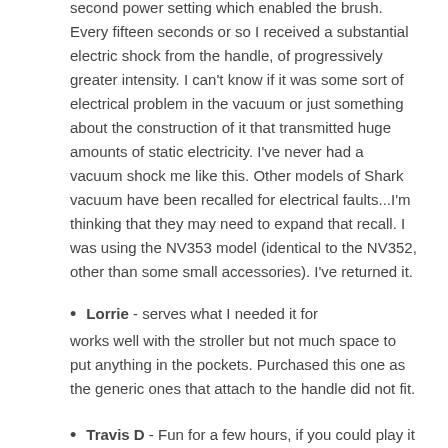second power setting which enabled the brush. Every fifteen seconds or so I received a substantial electric shock from the handle, of progressively greater intensity. I can't know if it was some sort of electrical problem in the vacuum or just something about the construction of it that transmitted huge amounts of static electricity. I've never had a vacuum shock me like this. Other models of Shark vacuum have been recalled for electrical faults...I'm thinking that they may need to expand that recall. I was using the NV353 model (identical to the NV352, other than some small accessories). I've returned it.
Lorrie - serves what I needed it for
works well with the stroller but not much space to put anything in the pockets. Purchased this one as the generic ones that attach to the handle did not fit.
Travis D - Fun for a few hours, if you could play it